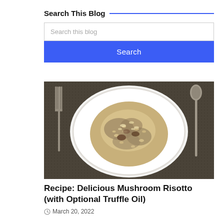Search This Blog
[Figure (screenshot): Search bar UI with text input field showing placeholder 'Search this blog' and a blue 'Search' button below it]
[Figure (photo): A white bowl of mushroom risotto topped with grated cheese, placed on a dark textured placemat with a fork on the left and a spoon on the right]
Recipe: Delicious Mushroom Risotto (with Optional Truffle Oil)
March 20, 2022